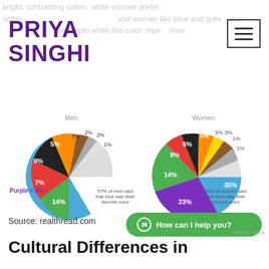bright, contrasting colors, while women prefer softer ... and women like blue and green but ... are purple while this color repels men
PRIYA SINGHI
[Figure (pie-chart): Men]
[Figure (pie-chart): Women]
Purple = 0%
57% of men said that blue was their favorite color
35% of women said that blue was their favorite color
Source: realthread.com
How can I help you?
Cultural Differences in